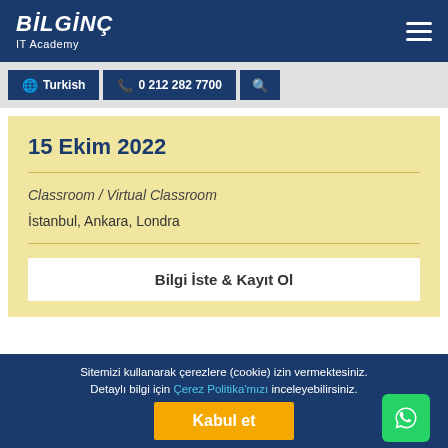BİLGİNÇ IT Academy
Turkish | 0 212 282 7700
15 Ekim 2022
Classroom / Virtual Classroom
İstanbul, Ankara, Londra
Bilgi İste & Kayıt Ol
Sitemizi kullanarak çerezlere (cookie) izin vermektesiniz. Detaylı bilgi için Çerez Politika'mızı inceleyebilirsiniz.
Kabul et